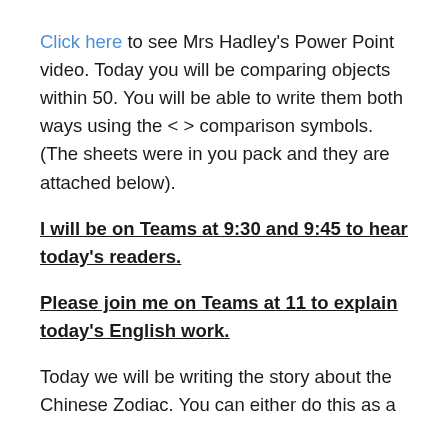Click here to see Mrs Hadley's Power Point video. Today you will be comparing objects within 50. You will be able to write them both ways using the < > comparison symbols. (The sheets were in you pack and they are attached below).
I will be on Teams at 9:30 and 9:45 to hear today's readers.
Please join me on Teams at 11 to explain today's English work.
Today we will be writing the story about the Chinese Zodiac. You can either do this as a